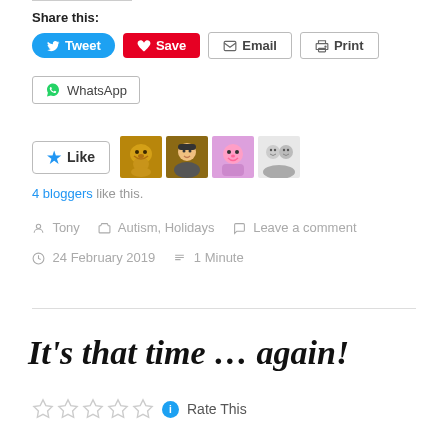Share this:
Tweet  Save  Email  Print
WhatsApp
[Figure (other): Like button with star icon, followed by 4 blogger avatar thumbnails]
4 bloggers like this.
Tony   Autism, Holidays   Leave a comment
24 February 2019   1 Minute
It's that time … again!
Rate This